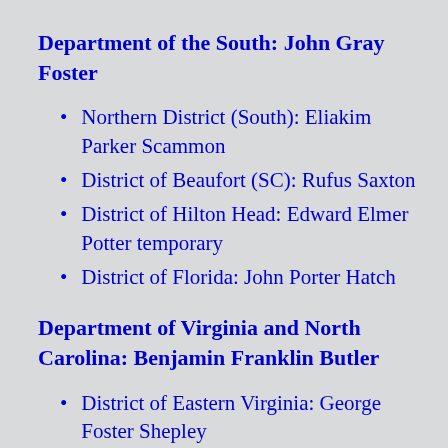Department of the South: John Gray Foster
Northern District (South): Eliakim Parker Scammon
District of Beaufort (SC): Rufus Saxton
District of Hilton Head: Edward Elmer Potter temporary
District of Florida: John Porter Hatch
Department of Virginia and North Carolina: Benjamin Franklin Butler
District of Eastern Virginia: George Foster Shepley